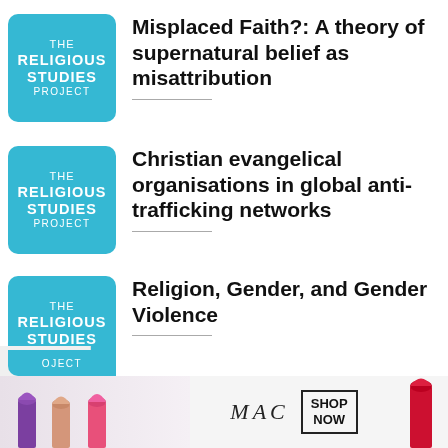[Figure (logo): The Religious Studies Project logo - teal square with white text]
Misplaced Faith?: A theory of supernatural belief as misattribution
[Figure (logo): The Religious Studies Project logo - teal square with white text]
Christian evangelical organisations in global anti-trafficking networks
[Figure (logo): The Religious Studies Project logo - teal square with white text (partially cropped)]
Religion, Gender, and Gender Violence
[Figure (photo): MAC cosmetics advertisement banner with lipsticks and SHOP NOW button]